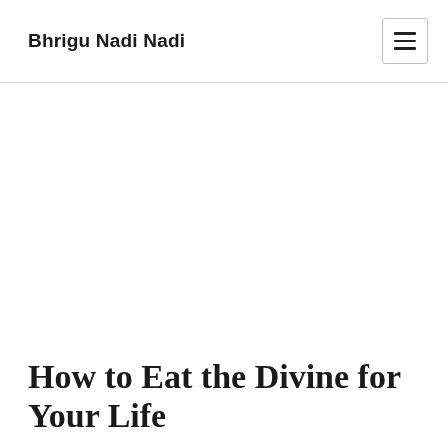Bhrigu Nadi Nadi
How to Eat the Divine for Your Life